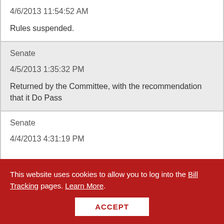4/6/2013 11:54:52 AM
Rules suspended.
Senate
4/5/2013 1:35:32 PM
Returned by the Committee, with the recommendation that it Do Pass
Senate
4/4/2013 4:31:19 PM
This website uses cookies to allow you to log into the Bill Tracking pages. Learn More.
ACCEPT